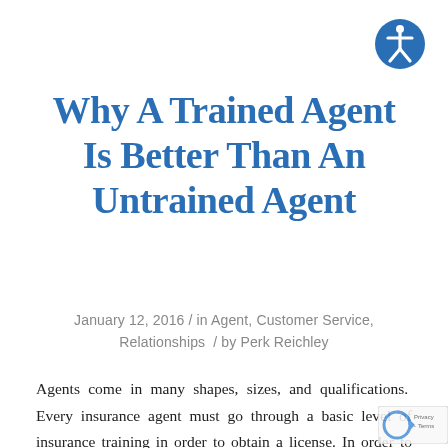[Figure (logo): Accessibility icon: blue circle with white stick figure person with arms and legs outstretched]
Why A Trained Agent Is Better Than An Untrained Agent
January 12, 2016 / in Agent, Customer Service, Relationships / by Perk Reichley
Agents come in many shapes, sizes, and qualifications. Every insurance agent must go through a basic level of insurance training in order to obtain a license. In order to keep their license, an agent must take a minimum level of training